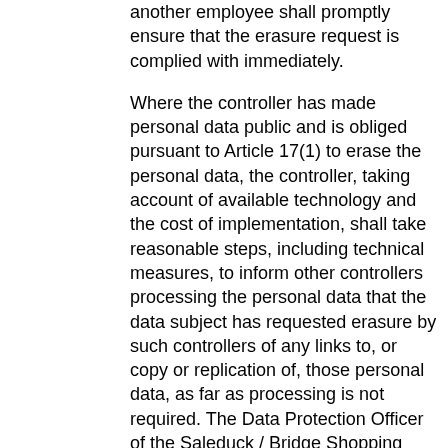another employee shall promptly ensure that the erasure request is complied with immediately.
Where the controller has made personal data public and is obliged pursuant to Article 17(1) to erase the personal data, the controller, taking account of available technology and the cost of implementation, shall take reasonable steps, including technical measures, to inform other controllers processing the personal data that the data subject has requested erasure by such controllers of any links to, or copy or replication of, those personal data, as far as processing is not required. The Data Protection Officer of the Saleduck / Bridge Shopping Portals BV or another employee will arrange the necessary measures in individual cases.
e) Right of restriction of processing
Each data subject shall have the right granted by the European legislator to obtain from the controller restriction of processing where one of the following